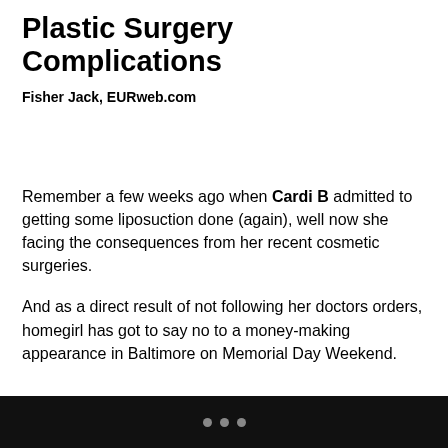Plastic Surgery Complications
Fisher Jack, EURweb.com
Remember a few weeks ago when Cardi B admitted to getting some liposuction done (again), well now she facing the consequences from her recent cosmetic surgeries.
And as a direct result of not following her doctors orders, homegirl has got to say no to a money-making appearance in Baltimore on Memorial Day Weekend.
• • •